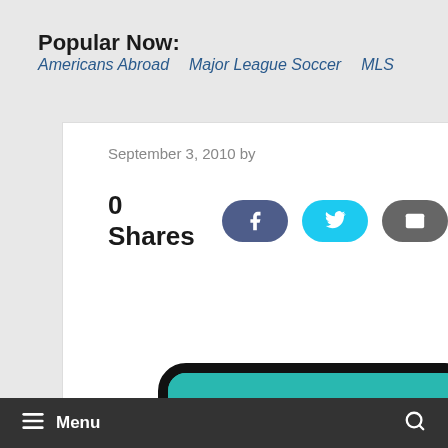Popular Now:
Americans Abroad
Major League Soccer
MLS
September 3, 2010 by
0 Shares
[Figure (illustration): MLS Major League Soccer logo showing a soccer cleat kicking a soccer ball on a teal/green background, inside a rounded black border]
Menu